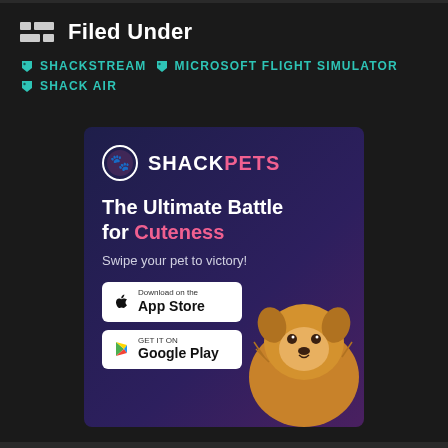Filed Under
SHACKSTREAM
MICROSOFT FLIGHT SIMULATOR
SHACK AIR
[Figure (illustration): ShackPets advertisement banner with dark purple/navy background. Features ShackPets logo (pink paw icon in circle), headline 'The Ultimate Battle for Cuteness', subtext 'Swipe your pet to victory!', App Store and Google Play download buttons, and a fluffy Pomeranian dog photo on the right side.]